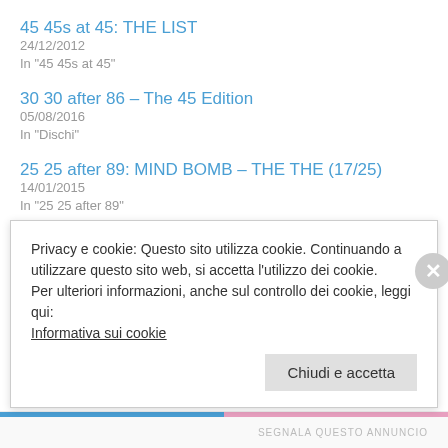45 45s at 45: THE LIST
24/12/2012
In "45 45s at 45"
30 30 after 86 – The 45 Edition
05/08/2016
In "Dischi"
25 25 after 89: MIND BOMB – THE THE (17/25)
14/01/2015
In "25 25 after 89"
Privacy e cookie: Questo sito utilizza cookie. Continuando a utilizzare questo sito web, si accetta l'utilizzo dei cookie.
Per ulteriori informazioni, anche sul controllo dei cookie, leggi qui:
Informativa sui cookie
Chiudi e accetta